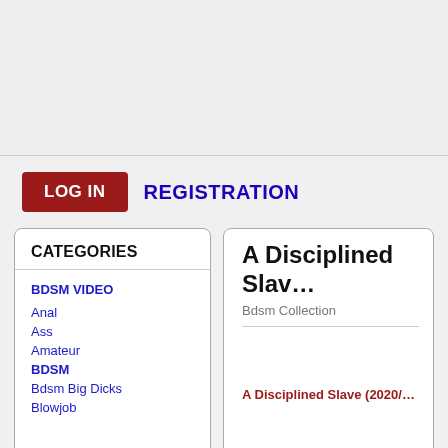LOG IN
REGISTRATION
CATEGORIES
BDSM VIDEO
Anal
Ass
Amateur
BDSM
Bdsm Big Dicks
Blowjob
A Disciplined Slav…
Bdsm Collection
A Disciplined Slave (2020/…